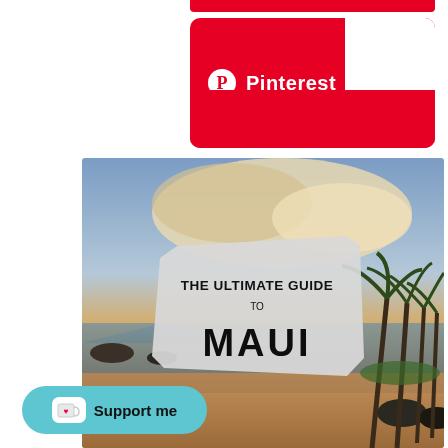[Figure (screenshot): Pinterest social share button/card with red background and Pinterest logo and text]
[Figure (photo): Tropical beach scene at sunset with palm trees, sandy shore, calm water and dramatic clouds. Overlaid with a torn paper graphic reading THE ULTIMATE GUIDE TO MAUI]
[Figure (other): Support me button with Ko-fi style icon (cup with heart) on teal/cyan rounded pill button]